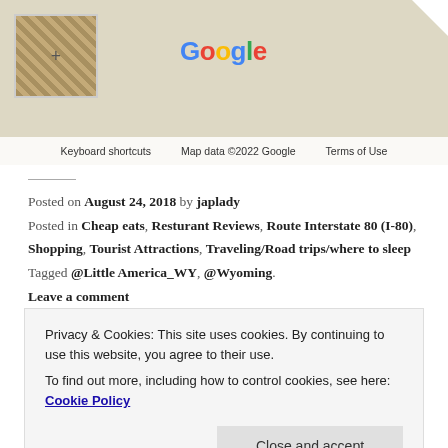[Figure (screenshot): Google Maps screenshot with small satellite thumbnail in top-left corner, Google logo in center, and map footer with Keyboard shortcuts, Map data ©2022 Google, Terms of Use]
Posted on August 24, 2018 by japlady
Posted in Cheap eats, Resturant Reviews, Route Interstate 80 (I-80), Shopping, Tourist Attractions, Traveling/Road trips/where to sleep
Tagged @Little America_WY, @Wyoming.
Leave a comment
Privacy & Cookies: This site uses cookies. By continuing to use this website, you agree to their use.
To find out more, including how to control cookies, see here: Cookie Policy
Close and accept
On Interstate 80 in Walcott, Iowa, you'll find Iowa